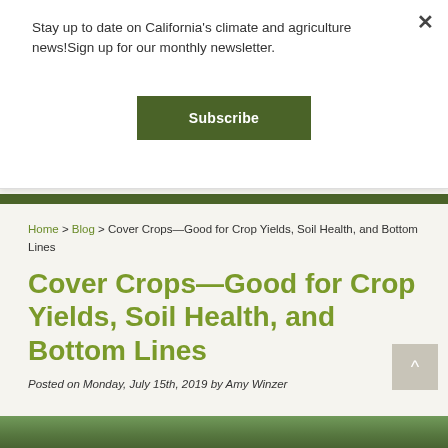Stay up to date on California's climate and agriculture news!Sign up for our monthly newsletter.
Subscribe
Home > Blog > Cover Crops—Good for Crop Yields, Soil Health, and Bottom Lines
Cover Crops—Good for Crop Yields, Soil Health, and Bottom Lines
Posted on Monday, July 15th, 2019 by Amy Winzer
[Figure (photo): Green crops photo strip at bottom of page]